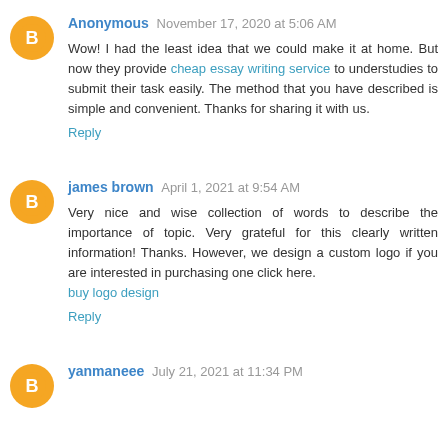Anonymous November 17, 2020 at 5:06 AM
Wow! I had the least idea that we could make it at home. But now they provide cheap essay writing service to understudies to submit their task easily. The method that you have described is simple and convenient. Thanks for sharing it with us.
Reply
james brown April 1, 2021 at 9:54 AM
Very nice and wise collection of words to describe the importance of topic. Very grateful for this clearly written information! Thanks. However, we design a custom logo if you are interested in purchasing one click here. buy logo design
Reply
yanmaneee July 21, 2021 at 11:34 PM